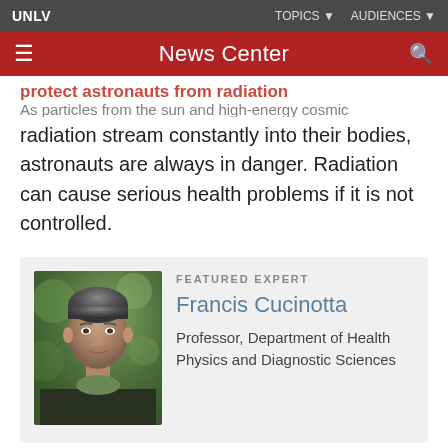UNLV  TOPICS  AUDIENCES
News Center
radiation stream constantly into their bodies, astronauts are always in danger. Radiation can cause serious health problems if it is not controlled.
[Figure (photo): Portrait photo of Francis Cucinotta, a middle-aged man in a dark suit jacket with a green shirt, photographed outdoors with a blurred green background.]
FEATURED EXPERT
Francis Cucinotta
Professor, Department of Health Physics and Diagnostic Sciences
JULY 2, 2021
Space.com